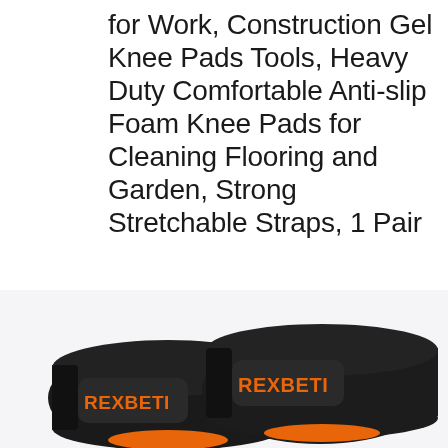for Work, Construction Gel Knee Pads Tools, Heavy Duty Comfortable Anti-slip Foam Knee Pads for Cleaning Flooring and Garden, Strong Stretchable Straps, 1 Pair
[Figure (photo): Two REXBETI branded black knee pads shown side by side. Each pad has 'REXBETI' printed in bold orange letters on a black background. Orange straps are visible at the bottom.]